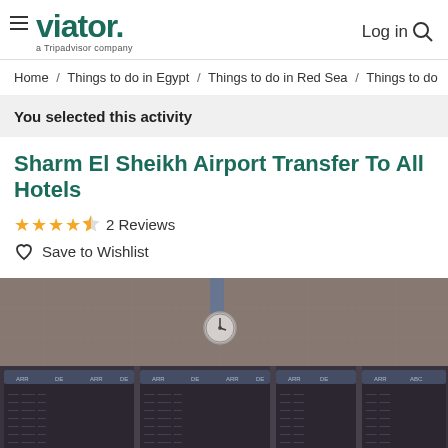viator. a Tripadvisor company | Log in
Home / Things to do in Egypt / Things to do in Red Sea / Things to do
You selected this activity
Sharm El Sheikh Airport Transfer To All Hotels
★★★★½ 2 Reviews
♡ Save to Wishlist
[Figure (photo): Airport departure boards showing flight information in a large terminal, with a clock on the wall above the boards. The boards display multiple columns of flight data. The image has a muted, slightly vintage tone.]